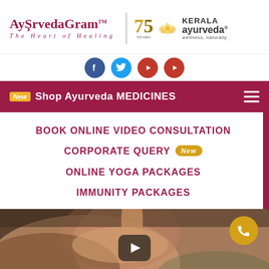[Figure (logo): AyurvedaGram - The Heart of Healing logo on the left, 75 years anniversary badge in gold, lotus flower, Kerala Ayurveda wellness naturally logo on right]
[Figure (infographic): Social media icons: Facebook (blue), Twitter (blue), YouTube (red), YouTube (red)]
New  Shop Ayurveda MEDICINES
BOOK ONLINE VIDEO CONSULTATION
CORPORATE QUERY  New
ONLINE YOGA PACKAGES
IMMUNITY PACKAGES
[Figure (photo): Close-up of hands in an Ayurveda wellness treatment scene with play button overlay in center and phone call button (gold circle) in top right]